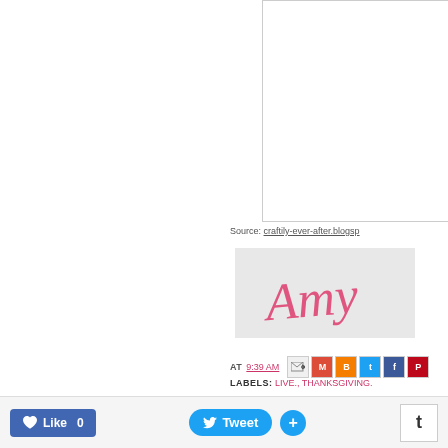[Figure (photo): Right-side image panel, white rectangle with thin border, appears to be a cropped blog post image placeholder]
Source: craftily-ever-after.blogsp
[Figure (illustration): Signature graphic reading 'Amy' in pink cursive script on a light gray background]
AT 9:39 AM
LABELS: LIVE., THANKSGIVING.
Like 0   Tweet   +   t